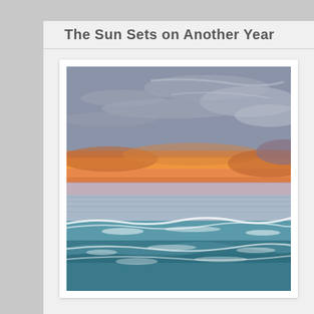The Sun Sets on Another Year
[Figure (photo): A coastal sunset photograph showing ocean waves in the foreground with teal-blue water, a calm sea horizon in the middle, and a dramatic sky filled with clouds lit in orange and warm golden hues from the setting sun. The upper sky is a muted blue-grey.]